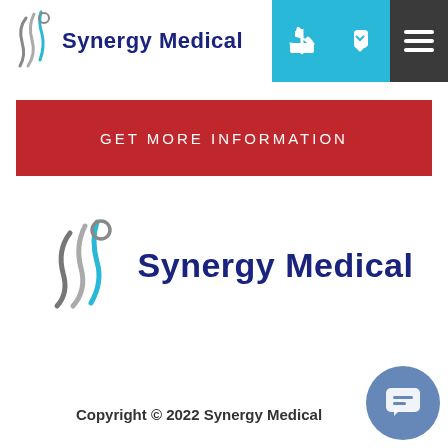[Figure (logo): Synergy Medical logo in header - stylized figure icon in grey/blue and 'Synergy Medical' text in dark navy blue]
[Figure (other): Phone icon on cyan/teal background and hamburger menu icon on dark grey background]
GET MORE INFORMATION
[Figure (logo): Synergy Medical logo centered - stylized figure icon in grey/blue and 'Synergy Medical' text in dark navy blue, larger version]
Copyright © 2022 Synergy Medical
[Figure (other): Blue circular chat/messaging button in bottom right corner]